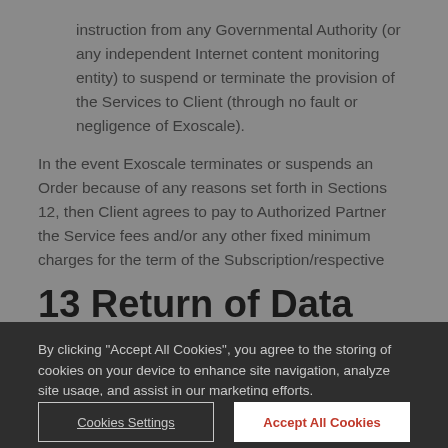instruction from any Governmental Authority (or any independent Internet content monitoring entity) to suspend or terminate the provision of the Services to Client (through no fault or negligence of Exoscale).
In the event Exoscale terminates or suspends an Order because of any reasons set forth in Sections 12, then Client agrees to pay to Authorized Partner the Service fees and/or any other fixed minimum charges for the term of the Subscription/respective Order.
13 Return of Data
By clicking "Accept All Cookies", you agree to the storing of cookies on your device to enhance site navigation, analyze site usage, and assist in our marketing efforts.
Cookies Settings
Accept All Cookies